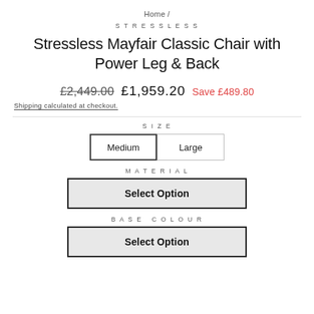Home /
STRESSLESS
Stressless Mayfair Classic Chair with Power Leg & Back
£2,449.00  £1,959.20  Save £489.80
Shipping calculated at checkout.
SIZE
Medium  Large
MATERIAL
Select Option
BASE COLOUR
Select Option